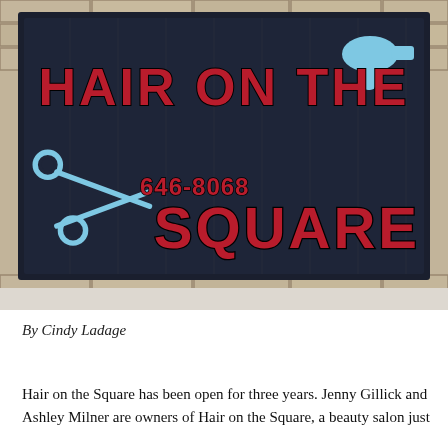[Figure (photo): Photograph of a business sign mounted on a brick wall. The sign has a dark navy/black background with bold red text reading 'HAIR ON THE SQUARE' and a phone number '646-8068'. Decorative light blue scissor and hair dryer icons appear on the sign.]
By Cindy Ladage
Hair on the Square has been open for three years. Jenny Gillick and Ashley Milner are owners of Hair on the Square, a beauty salon just